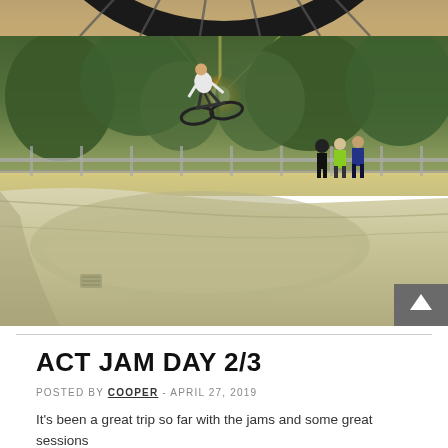[Figure (photo): Close-up partial view of a bicycle wheel from above, showing tire and spokes against a sandy/dirt ground background.]
[Figure (photo): A BMX rider performing an aerial trick above a concrete skatepark bowl/ramp, silhouetted against a golden sunset. Trees visible in background. Several spectators standing at the top of the ramp watching. Scroll-to-top button visible in bottom right corner.]
ACT JAM DAY 2/3
POSTED BY COOPER - APRIL 27, 2019
It's been a great trip so far with the jams and some great sessions